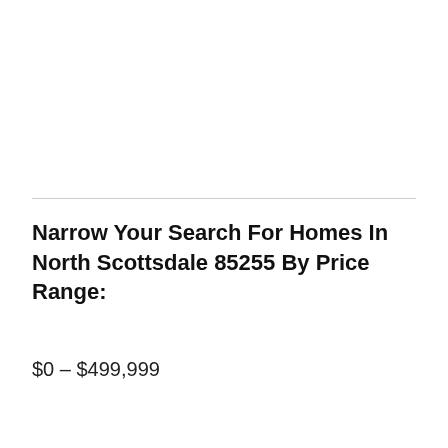Narrow Your Search For Homes In North Scottsdale 85255 By Price Range:
$0 – $499,999